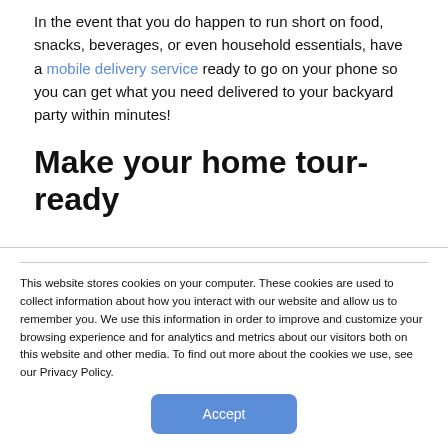In the event that you do happen to run short on food, snacks, beverages, or even household essentials, have a mobile delivery service ready to go on your phone so you can get what you need delivered to your backyard party within minutes!
Make your home tour-ready
This website stores cookies on your computer. These cookies are used to collect information about how you interact with our website and allow us to remember you. We use this information in order to improve and customize your browsing experience and for analytics and metrics about our visitors both on this website and other media. To find out more about the cookies we use, see our Privacy Policy.